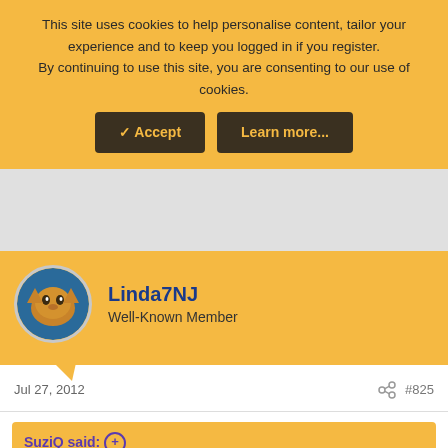This site uses cookies to help personalise content, tailor your experience and to keep you logged in if you register. By continuing to use this site, you are consenting to our use of cookies.
[Figure (screenshot): Cookie consent banner with Accept and Learn more buttons]
[Figure (photo): Gray advertisement area]
Linda7NJ
Well-Known Member
Jul 27, 2012
#825
SuziQ said: ⊕
They all think if they say it, it makes it so. This family's narcissism is off the charts. They think they are so above the law. Like Katharine